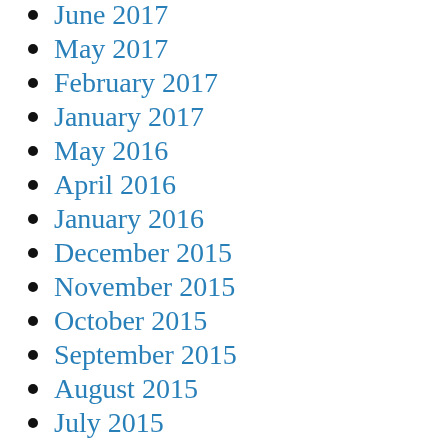June 2017
May 2017
February 2017
January 2017
May 2016
April 2016
January 2016
December 2015
November 2015
October 2015
September 2015
August 2015
July 2015
June 2015
May 2015
April 2015